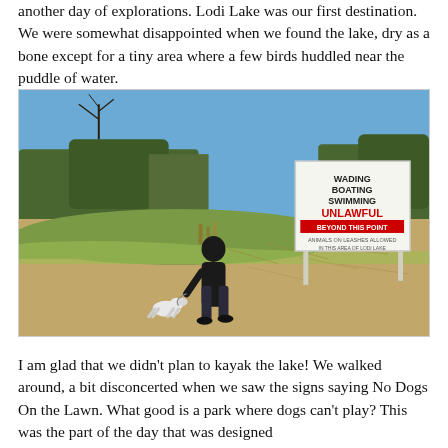another day of explorations. Lodi Lake was our first destination. We were somewhat disappointed when we found the lake, dry as a bone except for a tiny area where a few birds huddled near the puddle of water.
[Figure (photo): A person walking a small dog along the dry lakebed of Lodi Lake. A sign in the background reads 'WADING BOATING SWIMMING UNLAWFUL BEYOND THIS POINT'. The lake is almost completely dry, with cracked mud visible. Trees and a blue sky are in the background.]
I am glad that we didn't plan to kayak the lake! We walked around, a bit disconcerted when we saw the signs saying No Dogs On the Lawn. What good is a park where dogs can't play? This was the part of the day that was designed